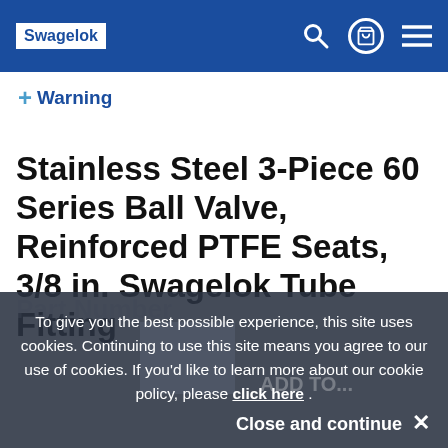Swagelok
+ Warning
Stainless Steel 3-Piece 60 Series Ball Valve, Reinforced PTFE Seats, 3/8 in. Swagelok Tube Fitting
To give you the best possible experience, this site uses cookies. Continuing to use this site means you agree to our use of cookies. If you'd like to learn more about our cookie policy, please click here .
Close and continue ✕